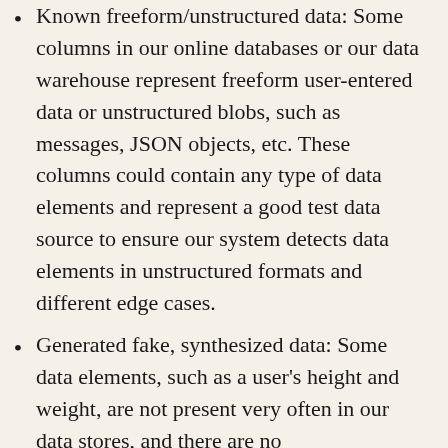Known freeform/unstructured data: Some columns in our online databases or our data warehouse represent freeform user-entered data or unstructured blobs, such as messages, JSON objects, etc. These columns could contain any type of data elements and represent a good test data source to ensure our system detects data elements in unstructured formats and different edge cases.
Generated fake, synthesized data: Some data elements, such as a user's height and weight, are not present very often in our data stores, and there are no